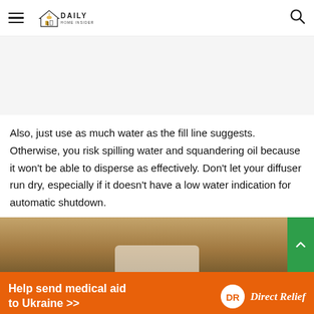Daily Home Insider
[Figure (other): Advertisement banner placeholder (gray area)]
Also, just use as much water as the fill line suggests. Otherwise, you risk spilling water and squandering oil because it won't be able to disperse as effectively. Don't let your diffuser run dry, especially if it doesn't have a low water indication for automatic shutdown.
[Figure (photo): Photo of a wooden surface with a diffuser device partially visible]
[Figure (other): Orange advertisement banner: 'Help send medical aid to Ukraine >>' with Direct Relief logo]